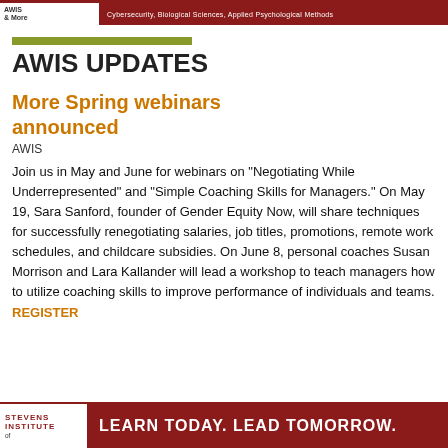AWIS | Cybersecurity, Biological Sciences, Applied Psychological Methods
AWIS UPDATES
More Spring webinars announced
AWIS
Join us in May and June for webinars on "Negotiating While Underrepresented" and "Simple Coaching Skills for Managers." On May 19, Sara Sanford, founder of Gender Equity Now, will share techniques for successfully renegotiating salaries, job titles, promotions, remote work schedules, and childcare subsidies. On June 8, personal coaches Susan Morrison and Lara Kallander will lead a workshop to teach managers how to utilize coaching skills to improve performance of individuals and teams. REGISTER
STEVENS INSTITUTE OF | LEARN TODAY. LEAD TOMORROW.